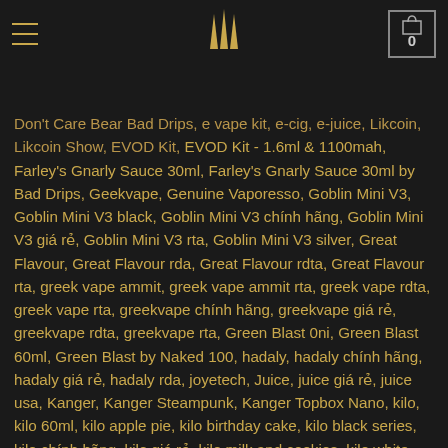≡  [logo]  0
Don't Care Bear Bad Drips, e vape kit, e-cig, e-juice, Likcoin, Likcoin Show, EVOD Kit, EVOD Kit - 1.6ml & 1100mah, Farley's Gnarly Sauce 30ml, Farley's Gnarly Sauce 30ml by Bad Drips, Geekvape, Genuine Vaporesso, Goblin Mini V3, Goblin Mini V3 black, Goblin Mini V3 chính hãng, Goblin Mini V3 giá rẻ, Goblin Mini V3 rta, Goblin Mini V3 silver, Great Flavour, Great Flavour rda, Great Flavour rdta, Great Flavour rta, greek vape ammit, greek vape ammit rta, greek vape rdta, greek vape rta, greekvape chính hãng, greekvape giá rẻ, greekvape rdta, greekvape rta, Green Blast 0ni, Green Blast 60ml, Green Blast by Naked 100, hadaly, hadaly chính hãng, hadaly giá rẻ, hadaly rda, joyetech, Juice, juice giá rẻ, juice usa, Kanger, Kanger Steampunk, Kanger Topbox Nano, kilo, kilo 60ml, kilo apple pie, kilo birthday cake, kilo black series, kilo chính hãng, kilo giá rẻ, kilo milk and cookies, kilo white series, Kit - 1.6ml & 1100mah, Kit 80w, Lava Flow, Lava Flow 60ml, Lava Flow by Naked 100, lost vape, lostvape, merlin mini, merlin mini gold, merlin mini rta, merlin mini rta black, merlin mini rta silver, minikin, minikin 200w, minikin kodama, minikin v1.5, minikin v2, naked, naked 0ni, naked 100, naked 60ml, naked american cowboy, naked authentic, naked chính hãng, naked giá rẻ, naked original, naked táo, naked thuốc lá, naked tobacco, naked xoài, Nano, Nano 80W, nilla, nilla 60ml, nilla chinh hãng, nilla giá rẻ, ninja man, ninja man 60ml, Odyssey, ohmsmium, pancake man, Pancake Man 60ml, Pancake Man 60ml by Vape Breakfast Classics, Peach Iced Tea, Peach Iced Tea 60ml, Peach Iced Tea e Juice by Snap Liquids